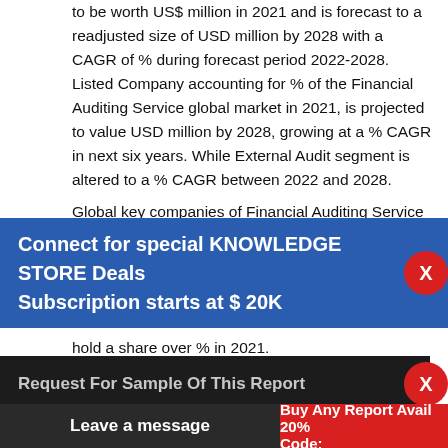to be worth US$ million in 2021 and is forecast to a readjusted size of USD million by 2028 with a CAGR of % during forecast period 2022-2028. Listed Company accounting for % of the Financial Auditing Service global market in 2021, is projected to value USD million by 2028, growing at a % CAGR in next six years. While External Audit segment is altered to a % CAGR between 2022 and 2028.
Global key companies of Financial Auditing Service include Binder Dijker Otte(BDO)Global, Deloitte
hold a share over % in 2021.
Market segmentation
Financial Auditing Service market is split by Type
calculatio... by Appli... your bu...
[Figure (infographic): Blue promotional banner overlay: 'Connect for special KNOWLEDGE STORE Deals Subscription starts at $ 20K' with red X close button]
[Figure (infographic): Dark banner overlay: 'Request For Sample Of This Report' with red X close button]
[Figure (infographic): Red strip: 'Buy Any Report Avail 20% Code:' and dark gray 'Leave a message' button]